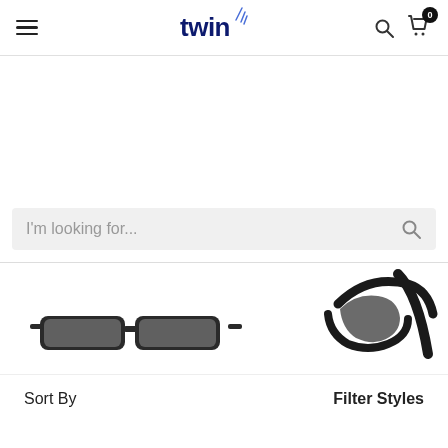twin — navigation header with hamburger menu, logo, search icon, and cart icon with badge 0
[Figure (screenshot): White banner/hero area with no visible content]
I'm looking for...
[Figure (photo): Two pairs of eyeglasses/sunglasses visible at bottom of product listing area — one pair of dark-framed sunglasses (center) and partial view of another pair of dark glasses (right)]
Sort By
Filter Styles